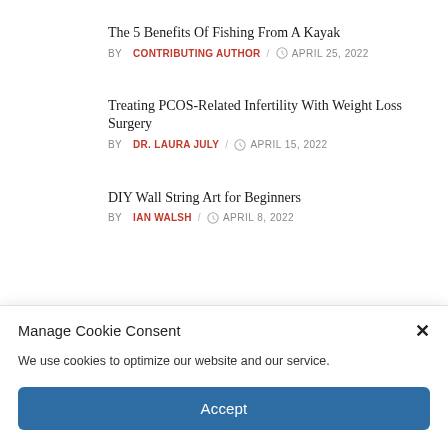The 5 Benefits Of Fishing From A Kayak
BY CONTRIBUTING AUTHOR / APRIL 25, 2022
Treating PCOS-Related Infertility With Weight Loss Surgery
BY DR. LAURA JULY / APRIL 15, 2022
DIY Wall String Art for Beginners
BY IAN WALSH / APRIL 8, 2022
Manage Cookie Consent
We use cookies to optimize our website and our service.
Accept